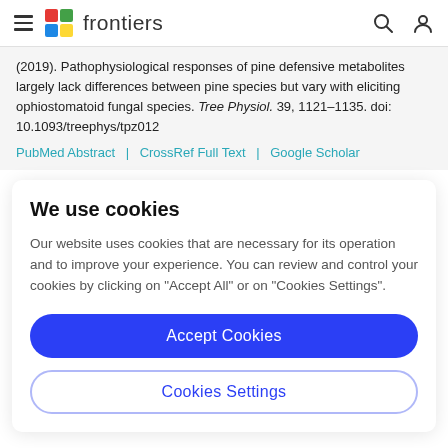frontiers (navigation bar with hamburger menu, logo, search and user icons)
(2019). Pathophysiological responses of pine defensive metabolites largely lack differences between pine species but vary with eliciting ophiostomatoid fungal species. Tree Physiol. 39, 1121–1135. doi: 10.1093/treephys/tpz012
PubMed Abstract | CrossRef Full Text | Google Scholar
We use cookies
Our website uses cookies that are necessary for its operation and to improve your experience. You can review and control your cookies by clicking on "Accept All" or on "Cookies Settings".
Accept Cookies
Cookies Settings